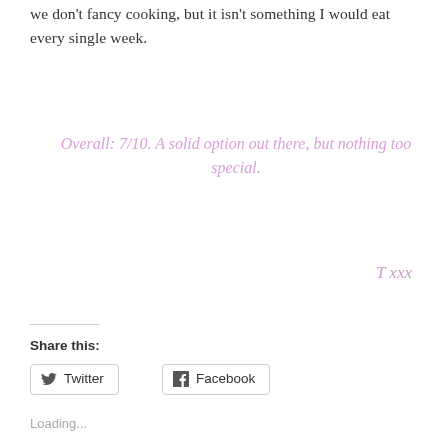we don't fancy cooking, but it isn't something I would eat every single week.
Overall: 7/10. A solid option out there, but nothing too special.
T xxx
Share this:
Twitter
Facebook
Loading...
Related
Vegan Chipotle
Maybelline